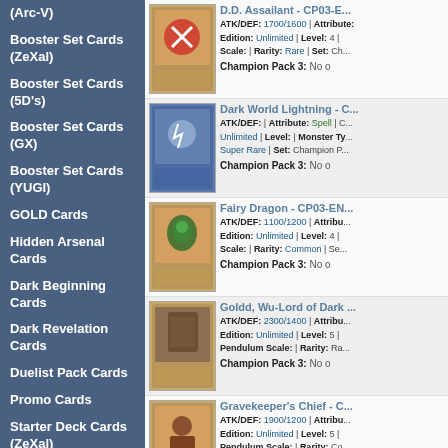(Arc-V)
Booster Set Cards (ZeXal)
Booster Set Cards (5D's)
Booster Set Cards (GX)
Booster Set Cards (YUGI)
GOLD Cards
Hidden Arsenal Cards
Dark Beginning Cards
Dark Revelation Cards
Duelist Pack Cards
Promo Cards
Starter Deck Cards (ZeXal)
Starter Deck Cards (5D's)
D.D. Assailant - CP03-E... ATK/DEF: 1700/1600 | Attribute: Edition: Unlimited | Level: 4 | Scale: | Rarity: Rare | Set: Ch... Champion Pack 3: No o
Dark World Lightning - C... ATK/DEF: | Attribute: Spell | C... Unlimited | Level: | Monster Ty... Super Rare | Set: Champion P... Champion Pack 3: No o
Fairy Dragon - CP03-EN... ATK/DEF: 1100/1200 | Attribu... Edition: Unlimited | Level: 4 | Scale: | Rarity: Common | Se... Champion Pack 3: No o
Goldd, Wu-Lord of Dark ... ATK/DEF: 2300/1400 | Attribu... Edition: Unlimited | Level: 5 | Pendulum Scale: | Rarity: Ra... Champion Pack 3: No o
Gravekeeper's Chief - C... ATK/DEF: 1900/1200 | Attribu... Edition: Unlimited | Level: 5 | Pendulum Scale: | Rarity: Co... Champion Pack 3: No o
Gravekeeper's Spy - CP... ATK/DEF: 1200/2000 | Attribu...